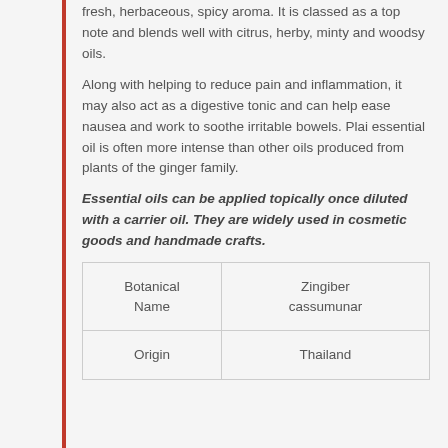fresh, herbaceous, spicy aroma. It is classed as a top note and blends well with citrus, herby, minty and woodsy oils.
Along with helping to reduce pain and inflammation, it may also act as a digestive tonic and can help ease nausea and work to soothe irritable bowels. Plai essential oil is often more intense than other oils produced from plants of the ginger family.
Essential oils can be applied topically once diluted with a carrier oil. They are widely used in cosmetic goods and handmade crafts.
| Botanical Name | Zingiber cassumunar |
| --- | --- |
| Origin | Thailand |